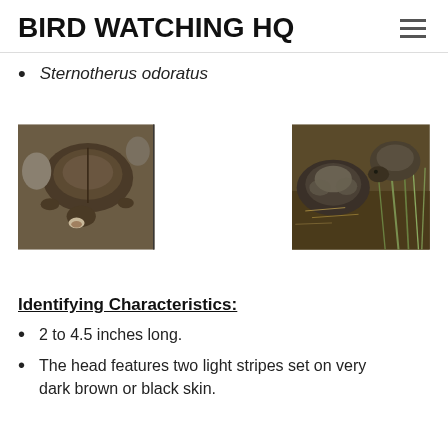BIRD WATCHING HQ
Sternotherus odoratus
[Figure (photo): Two side-by-side photographs of musk turtles (Sternotherus odoratus). Left photo shows a single turtle with open mouth on rocky substrate. Right photo shows two turtles on soil among dried grass.]
Identifying Characteristics:
2 to 4.5 inches long.
The head features two light stripes set on very dark brown or black skin.